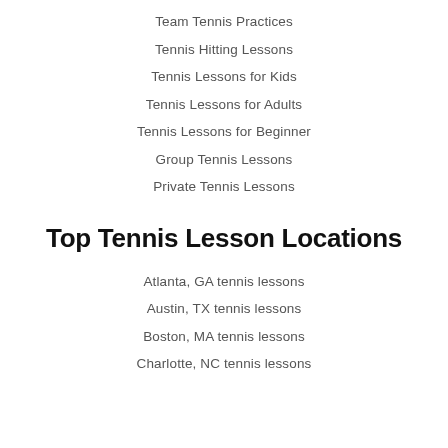Team Tennis Practices
Tennis Hitting Lessons
Tennis Lessons for Kids
Tennis Lessons for Adults
Tennis Lessons for Beginner
Group Tennis Lessons
Private Tennis Lessons
Top Tennis Lesson Locations
Atlanta, GA tennis lessons
Austin, TX tennis lessons
Boston, MA tennis lessons
Charlotte, NC tennis lessons